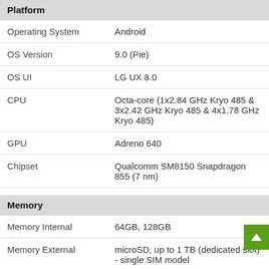Platform
| Attribute | Value |
| --- | --- |
| Operating System | Android |
| OS Version | 9.0 (Pie) |
| OS UI | LG UX 8.0 |
| CPU | Octa-core (1x2.84 GHz Kryo 485 & 3x2.42 GHz Kryo 485 & 4x1.78 GHz Kryo 485) |
| GPU | Adreno 640 |
| Chipset | Qualcomm SM8150 Snapdragon 855 (7 nm) |
Memory
| Attribute | Value |
| --- | --- |
| Memory Internal | 64GB, 128GB |
| Memory External | microSD, up to 1 TB (dedicated slot) - single SIM model |